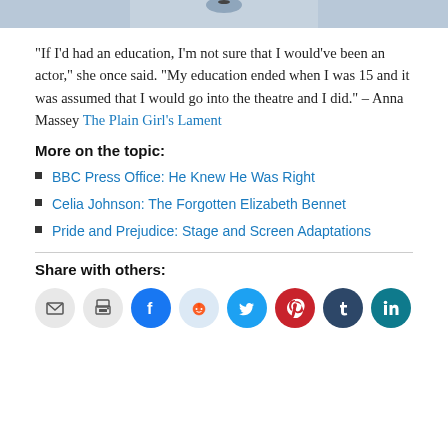[Figure (photo): Partial photo of a person, cropped at top of page]
“If I’d had an education, I’m not sure that I would’ve been an actor,” she once said. “My education ended when I was 15 and it was assumed that I would go into the theatre and I did.” –  Anna Massey The Plain Girl’s Lament
More on the topic:
BBC Press Office: He Knew He Was Right
Celia Johnson: The Forgotten Elizabeth Bennet
Pride and Prejudice: Stage and Screen Adaptations
Share with others:
[Figure (infographic): Row of social media share buttons: email, print, Facebook, Reddit, Twitter, Pinterest, Tumblr, LinkedIn]